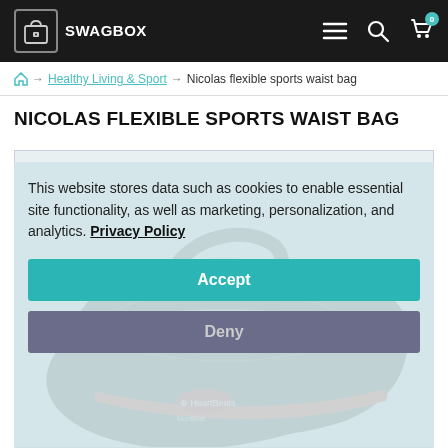SWAG BOX — navigation header with logo, menu, search, and cart icons
Home → Healthy Living & Sport → Nicolas flexible sports waist bag
NICOLAS FLEXIBLE SPORTS WAIST BAG
[Figure (photo): Photo of Nicolas flexible sports waist bag (dark grey/black with red accents and HeartBeats logo), partially visible behind cookie consent overlay]
This website stores data such as cookies to enable essential site functionality, as well as marketing, personalization, and analytics. Privacy Policy
Accept
Deny